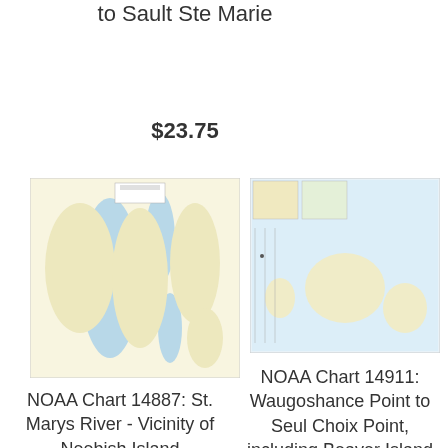to Sault Ste Marie
$23.75
[Figure (map): NOAA nautical chart map showing St. Marys River area with waterways and land masses in blue and yellow-green tones]
[Figure (map): NOAA nautical chart 14911 showing Waugoshance Point to Seul Choix Point including Beaver Island Group, with water and land features]
NOAA Chart 14887: St. Marys River - Vicinity of Neebish Island
NOAA Chart 14911: Waugoshance Point to Seul Choix Point, including Beaver Island Group,